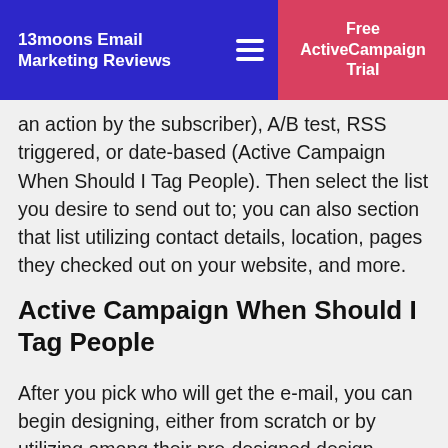13moons Email Marketing Reviews
an action by the subscriber), A/B test, RSS triggered, or date-based (Active Campaign When Should I Tag People). Then select the list you desire to send out to; you can also section that list utilizing contact details, location, pages they checked out on your website, and more.
Active Campaign When Should I Tag People
After you pick who will get the e-mail, you can begin designing, either from scratch or by utilizing among their pre-designed design templates. Going back to square one means you can pick the design, colors, and style. You can also include elements via drag and drop to the